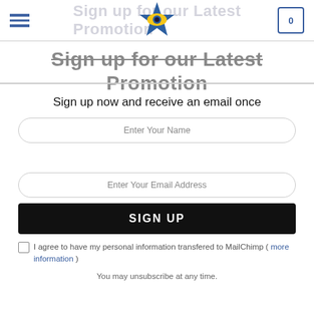[Figure (logo): Star-shaped logo with blue star and yellow eye/lens in center]
Sign up for our Latest Promotion
Sign up now and receive an email once
Enter Your Name
Enter Your Email Address
SIGN UP
I agree to have my personal information transfered to MailChimp ( more information )
You may unsubscribe at any time.